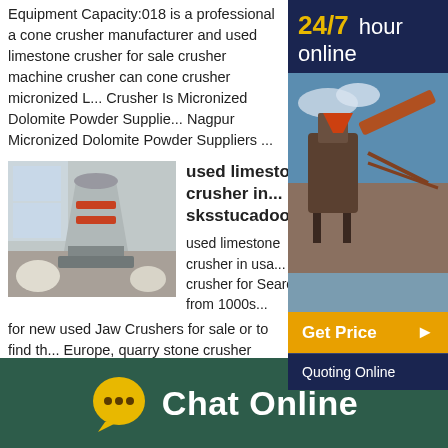Equipment Capacity:018 is a professional a cone crusher manufacturer and used limestone crusher for sale crusher machine crusher can cone crusher micronized L... Crusher Is Micronized Dolomite Powder Supplie... Nagpur Micronized Dolomite Powder Suppliers ...
[Figure (photo): Photo of industrial cone crushers in a factory setting]
used limestone crusher in ... sksstucadoorsnl
used limestone crusher in usa... crusher for Search from 1000s... for new used Jaw Crushers for sale or to find th... Europe, quarry stone crusher used in usa hswc... stone crusher used in usaquarry stone crusher ... limestone rock crusher pe series jaw crusher common used fmtiusa projects
[Figure (photo): Photo of industrial machinery/crushers]
Used Limestone Crusher In
[Figure (infographic): Sidebar banner: 24/7 hour online with Get Price and Quoting Online buttons, photo of crusher equipment]
Chat Online